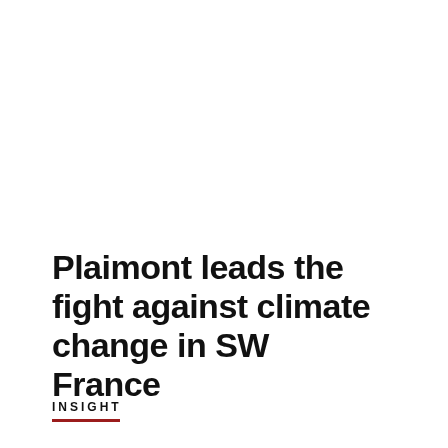Plaimont leads the fight against climate change in SW France
INSIGHT